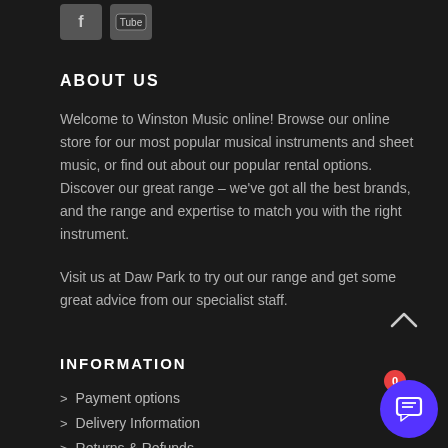[Figure (screenshot): Social media icon buttons (Facebook and YouTube) rendered as dark gray rounded rectangles]
ABOUT US
Welcome to Winston Music online! Browse our online store for our most popular musical instruments and sheet music, or find out about our popular rental options. Discover our great range – we've got all the best brands, and the range and expertise to match you with the right instrument.
Visit us at Daw Park to try out our range and get some great advice from our specialist staff.
INFORMATION
Payment options
Delivery Information
Returns & Refunds
Warranty